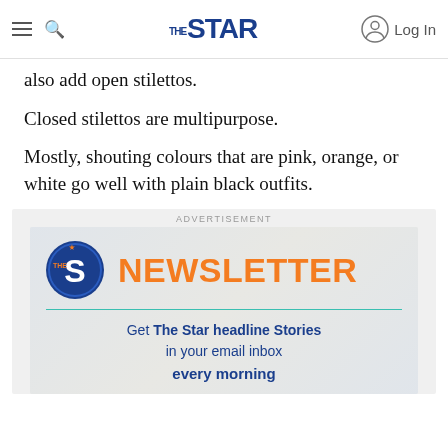THE STAR — Log In
also add open stilettos.
Closed stilettos are multipurpose.
Mostly, shouting colours that are pink, orange, or white go well with plain black outfits.
[Figure (infographic): The Star Newsletter advertisement: circular Star logo with 'S', large orange NEWSLETTER heading, teal divider line, text reading 'Get The Star headline Stories in your email inbox every morning']